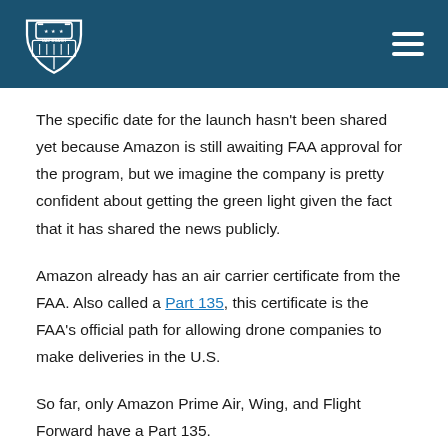UAV Coach [logo] [hamburger menu]
The specific date for the launch hasn't been shared yet because Amazon is still awaiting FAA approval for the program, but we imagine the company is pretty confident about getting the green light given the fact that it has shared the news publicly.
Amazon already has an air carrier certificate from the FAA. Also called a Part 135, this certificate is the FAA's official path for allowing drone companies to make deliveries in the U.S.
So far, only Amazon Prime Air, Wing, and Flight Forward have a Part 135.